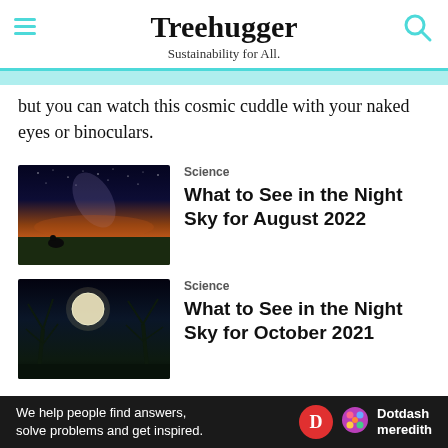Treehugger — Sustainability for All.
but you can watch this cosmic cuddle with your naked eyes or binoculars.
[Figure (photo): Night sky photo showing the Milky Way galaxy over a dark landscape with a person sitting in the foreground and orange/pink sunset glow on the horizon]
Science
What to See in the Night Sky for August 2022
[Figure (photo): Night sky photo showing a bright full moon illuminating bare tree branches against a dark blue sky]
Science
What to See in the Night Sky for October 2021
We help people find answers, solve problems and get inspired. Dotdash meredith